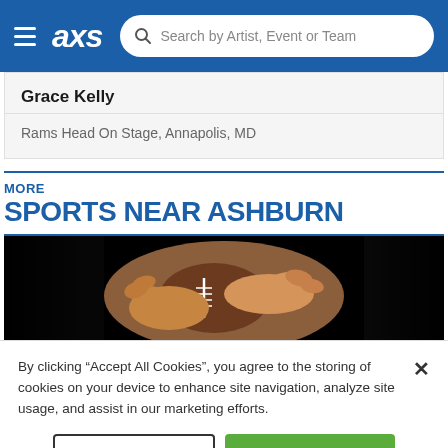AXS — Search Artist, Event or Team
Grace Kelly
Rams Head On Stage, Annapolis, MD
MORE
SPORTS NEAR ASHBURN
[Figure (photo): Hands gripping a football against a dark background]
By clicking “Accept All Cookies”, you agree to the storing of cookies on your device to enhance site navigation, analyze site usage, and assist in our marketing efforts.